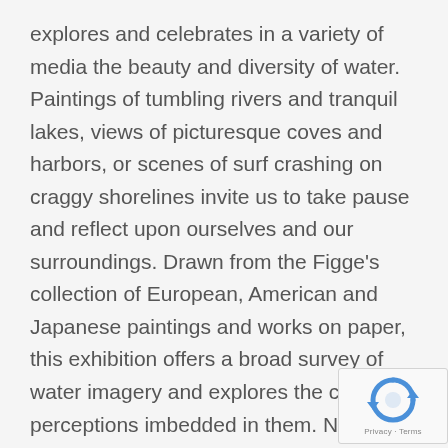explores and celebrates in a variety of media the beauty and diversity of water. Paintings of tumbling rivers and tranquil lakes, views of picturesque coves and harbors, or scenes of surf crashing on craggy shorelines invite us to take pause and reflect upon ourselves and our surroundings. Drawn from the Figge's collection of European, American and Japanese paintings and works on paper, this exhibition offers a broad survey of water imagery and explores the cultural perceptions imbedded in them. Not to be regarded as mere transcriptions of the natural world, seascapes and landscapes are views of the land and sea that have been carefully selected and manipulated in accordance to prevailing ideological attitudes about mankind and nature. Thus,
[Figure (other): reCAPTCHA logo and Privacy·Terms text overlay in bottom-right corner]